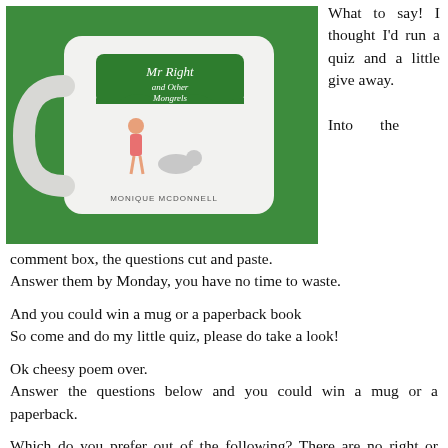[Figure (photo): A white ceramic mug on a green background, with text reading 'Mr Right and Other Mongrels' and 'MONIQUE MCDONNELL' printed on it, with an illustrated woman in a red dress.]
What to say! I thought I'd run a quiz and a little give away.
Into the comment box, the questions cut and paste. Answer them by Monday, you have no time to waste.
And you could win a mug or a paperback book So come and do my little quiz, please do take a look!
Ok cheesy poem over. Answer the questions below and you could win a mug or a paperback.
Which do you prefer out of the following? There are no right or wrong answers.